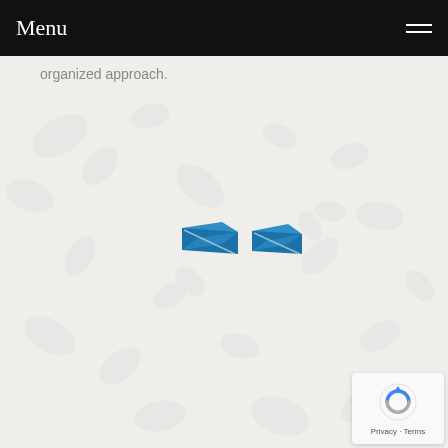Menu
organized approach.
[Figure (logo): Two blue hexagon/gem shaped logo icons side by side]
[Figure (other): reCAPTCHA privacy badge with circular arrow icon and Privacy · Terms text]